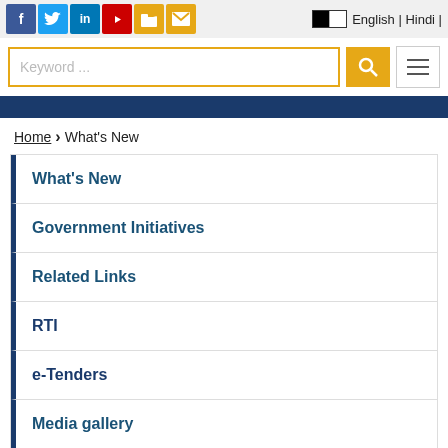Social icons: Facebook, Twitter, LinkedIn, YouTube, Folder, Mail | English | Hindi
Keyword ... [search bar with search button and menu button]
What's New
Government Initiatives
Related Links
RTI
e-Tenders
Media gallery